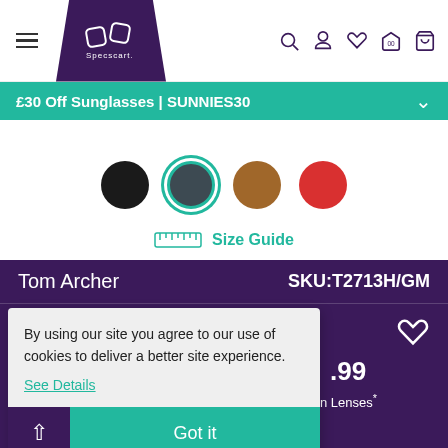Specscart navigation bar with hamburger menu, logo, search, account, wishlist, store, cart icons
£30 Off Sunglasses | SUNNIES30
[Figure (other): Four color swatches: black, gunmetal (selected with teal border), brown, red]
Size Guide
Tom Archer
SKU:T2713H/GM
MATT LA2
By using our site you agree to our use of cookies to deliver a better site experience.
See Details
Got it
.99
n Lenses*
Sold Out